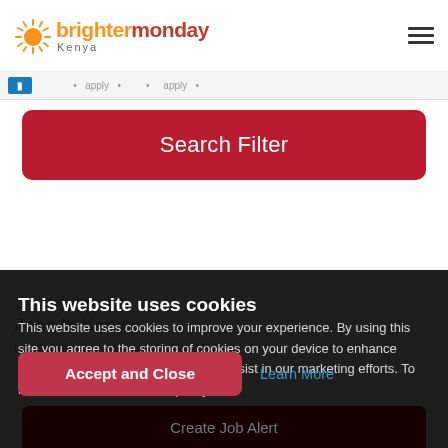[Figure (logo): BrighterMonday Kenya logo with sun icon]
BrighterMonday Kenya — hamburger menu icon
Search Filter (button)
This website uses cookies
This website uses cookies to improve your experience. By using this site you agree to the storing of cookies on your device to enhance navigation, analyze site usage, and assist in our marketing efforts. To learn more, see our cookie policy.
Accept and Close | Learn More
Create Job Alert